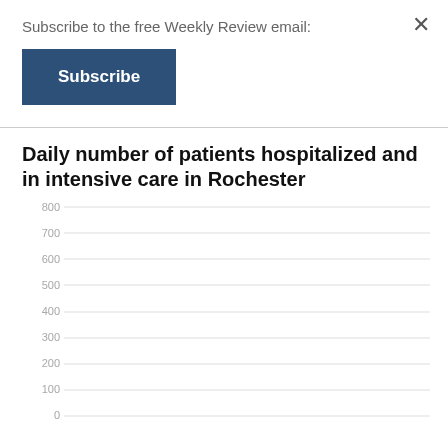Subscribe to the free Weekly Review email:
Subscribe
Daily number of patients hospitalized and in intensive care in Rochester
[Figure (continuous-plot): Y-axis chart showing gridlines labeled 0, 100, 200, 300, 400, 500, 600, 700, 800. The chart area is mostly empty/white, showing the upper portion of a line chart for daily hospitalized and intensive care patients in Rochester. No data lines are visible in this cropped view.]